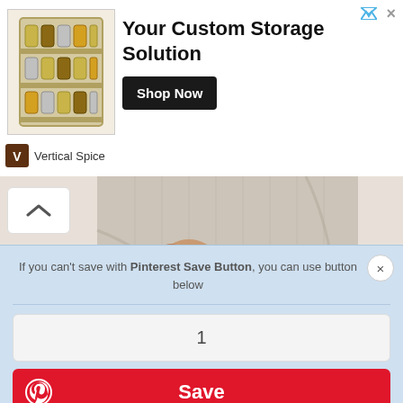[Figure (screenshot): Advertisement banner for Vertical Spice custom storage solution showing a spice rack image, bold headline 'Your Custom Storage Solution', 'Shop Now' button, and Vertical Spice brand logo]
[Figure (photo): Person wearing a light gray cable-knit sweater, mid-section view showing hands clasped at waist]
If you can't save with Pinterest Save Button, you can use button below
1
Save